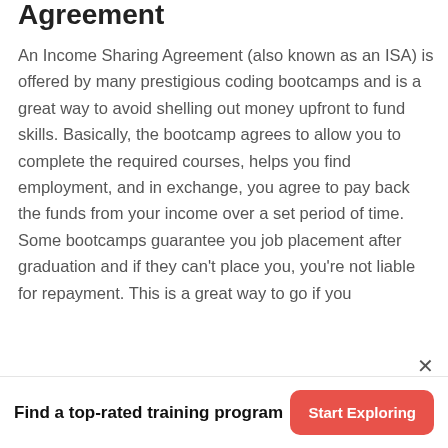Agreement
An Income Sharing Agreement (also known as an ISA) is offered by many prestigious coding bootcamps and is a great way to avoid shelling out money upfront to fund skills. Basically, the bootcamp agrees to allow you to complete the required courses, helps you find employment, and in exchange, you agree to pay back the funds from your income over a set period of time. Some bootcamps guarantee you job placement after graduation and if they can't place you, you're not liable for repayment. This is a great way to go if you
Find a top-rated training program
Start Exploring